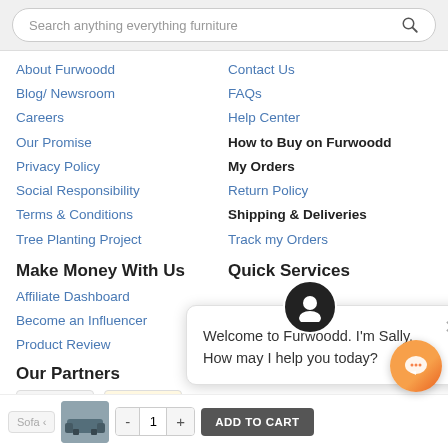Search anything everything furniture
About Furwoodd
Blog/ Newsroom
Careers
Our Promise
Privacy Policy
Social Responsibility
Terms & Conditions
Tree Planting Project
Contact Us
FAQs
Help Center
How to Buy on Furwoodd
My Orders
Return Policy
Shipping & Deliveries
Track my Orders
Make Money With Us
Affiliate Dashboard
Become an Influencer
Product Review
Quick Services
Our Partners
[Figure (screenshot): Chat popup from Sally at Furwoodd: Welcome to Furwoodd. I'm Sally. How may I help you today?]
Working Hours
Saturday: 8am - 7pm